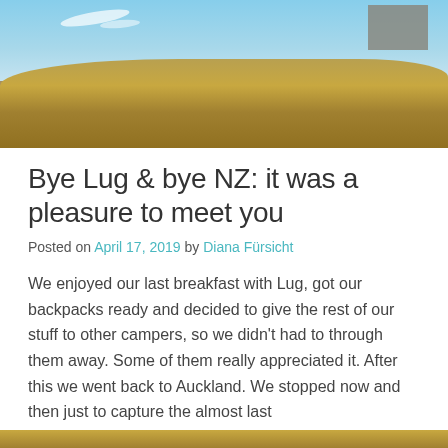[Figure (photo): Landscape photo showing golden dry grass/tussock in the foreground with a blue sky and a stone wall or structure visible in the upper right corner.]
Bye Lug & bye NZ: it was a pleasure to meet you
Posted on April 17, 2019 by Diana Fürsicht
We enjoyed our last breakfast with Lug, got our backpacks ready and decided to give the rest of our stuff to other campers, so we didn't had to through them away. Some of them really appreciated it. After this we went back to Auckland. We stopped now and then just to capture the almost last
READ MORE